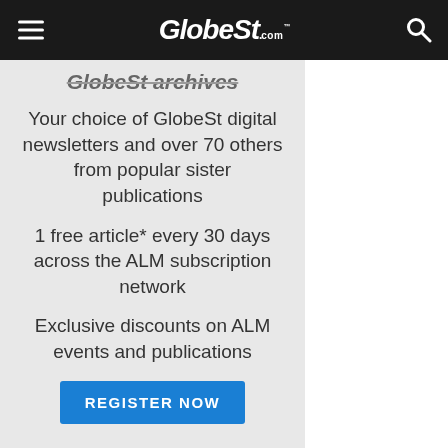GlobeSt.com
GlobeSt archives
Your choice of GlobeSt digital newsletters and over 70 others from popular sister publications
1 free article* every 30 days across the ALM subscription network
Exclusive discounts on ALM events and publications